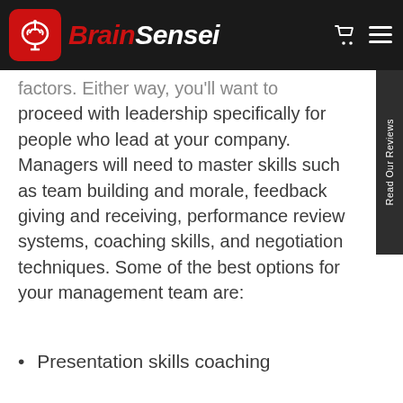BrainSensei
factors. Either way, you'll want to proceed with leadership specifically for people who lead at your company. Managers will need to master skills such as team building and morale, feedback giving and receiving, performance review systems, coaching skills, and negotiation techniques. Some of the best options for your management team are:
Presentation skills coaching